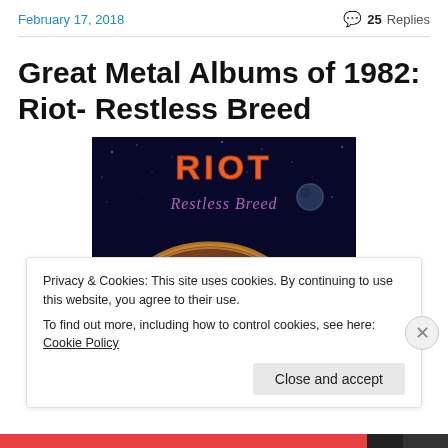February 17, 2018   25 Replies
Great Metal Albums of 1982: Riot- Restless Breed
[Figure (photo): Album cover for Riot - Restless Breed showing the band name 'RIOT' in orange letters at the top, 'Restless Breed' in purple script below it, with a rocky asteroid or moon in the foreground against a dark space background with a small moon or planet visible on the right.]
Privacy & Cookies: This site uses cookies. By continuing to use this website, you agree to their use.
To find out more, including how to control cookies, see here: Cookie Policy
Close and accept